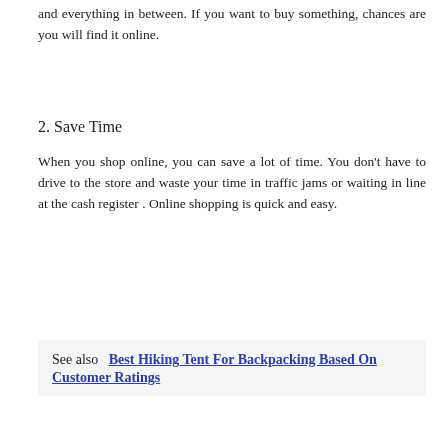and everything in between. If you want to buy something, chances are you will find it online.
2. Save Time
When you shop online, you can save a lot of time. You don't have to drive to the store and waste your time in traffic jams or waiting in line at the cash register . Online shopping is quick and easy.
See also  Best Hiking Tent For Backpacking Based On Customer Ratings